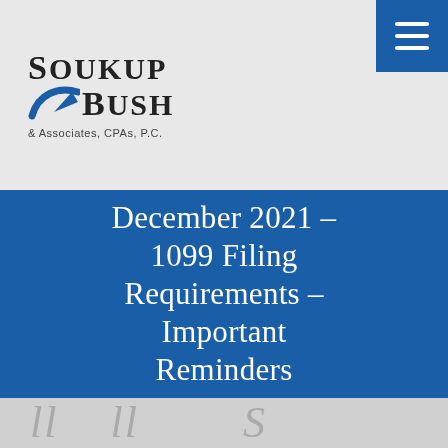[Figure (logo): Soukup Bush & Associates, CPAs, P.C. logo with stylized swoosh graphic in blue]
December 2021 – 1099 Filing Requirements – Important Reminders